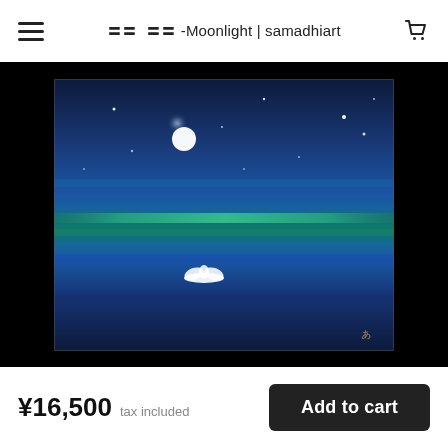☐☐  ☐☐ -Moonlight | samadhiart
[Figure (photo): A painting of a moonlit night scene on dark blue canvas. The painting features a glowing white full moon in an indigo and blue sky with scattered white stars. A green horizontal band runs across the middle of the canvas. In the lower center, a white lotus flower floats on what appears to be a reflective surface. The painting is displayed against a black background. A small artist's mark is visible in the bottom right corner of the painting.]
¥16,500 tax included
Add to cart